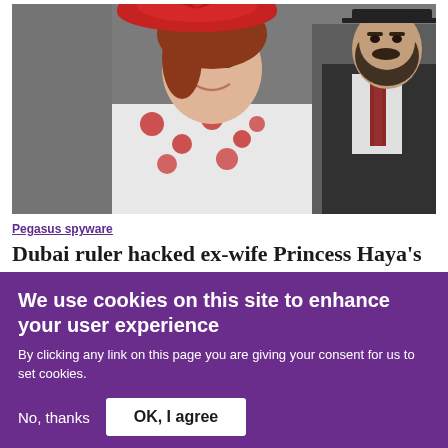[Figure (photo): A smiling woman wearing a red fascinator hat and a white dress with red floral pattern, next to a man in a dark suit with a red patterned tie, at what appears to be a formal outdoor event.]
Pegasus spyware
Dubai ruler hacked ex-wife Princess Haya's phone using Pegasus spyware
We use cookies on this site to enhance your user experience
By clicking any link on this page you are giving your consent for us to set cookies.
No, thanks
OK, I agree